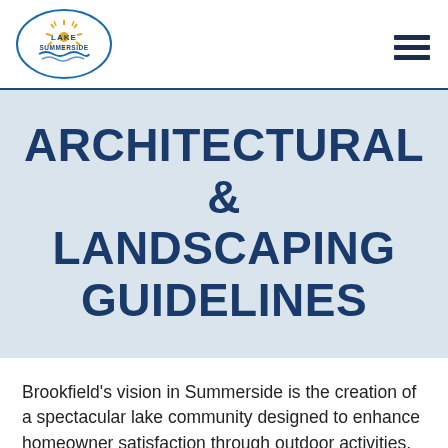[Figure (logo): Lake Summerside logo: oval outline with sun rays and water waves, text LAKE SUMMERSIDE inside]
ARCHITECTURAL & LANDSCAPING GUIDELINES
Brookfield's vision in Summerside is the creation of a spectacular lake community designed to enhance homeowner satisfaction through outdoor activities, healthier lifestyles and wholesome cultural and